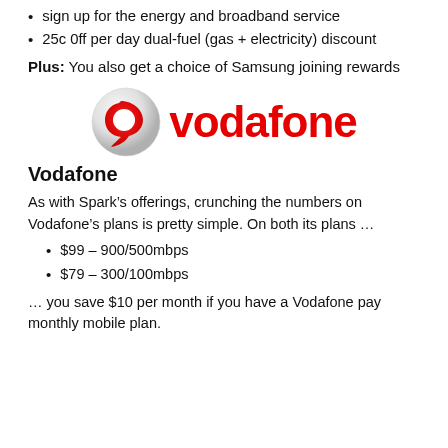sign up for the energy and broadband service
25c 0ff per day dual-fuel (gas + electricity) discount
Plus: You also get a choice of Samsung joining rewards
[Figure (logo): Vodafone logo: a red speech-bubble/quotation mark icon followed by the word 'vodafone' in bold red text]
Vodafone
As with Spark’s offerings, crunching the numbers on Vodafone’s plans is pretty simple. On both its plans …
$99 – 900/500mbps
$79 – 300/100mbps
… you save $10 per month if you have a Vodafone pay monthly mobile plan.